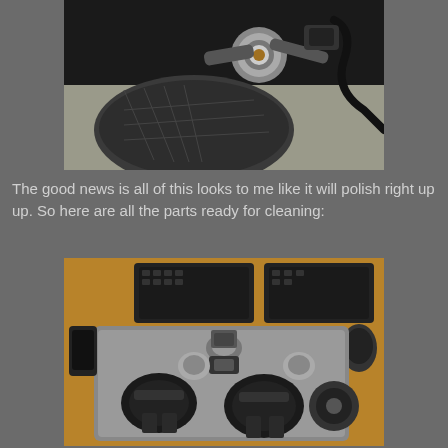[Figure (photo): Close-up photo of mechanical bicycle brake parts with chrome fitting and black cable, with a shoe/boot visible]
The good news is all of this looks to me like it will polish right up up. So here are all the parts ready for cleaning:
[Figure (photo): Photo of bicycle brake calipers and parts laid out on a metal tray on a desk with a keyboard, phone and mouse visible in the background]